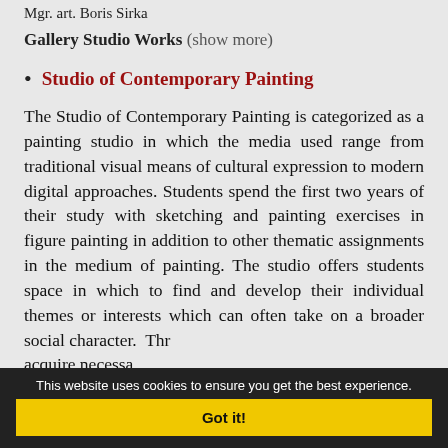Mgr. art. Boris Sirka
Gallery Studio Works (show more)
Studio of Contemporary Painting
The Studio of Contemporary Painting is categorized as a painting studio in which the media used range from traditional visual means of cultural expression to modern digital approaches. Students spend the first two years of their study with sketching and painting exercises in figure painting in addition to other thematic assignments in the medium of painting. The studio offers students space in which to find and develop their individual themes or interests which can often take on a broader social character. Thro... acquire necessa... styles. They ar... and an orientn...
This website uses cookies to ensure you get the best experience. Got it!